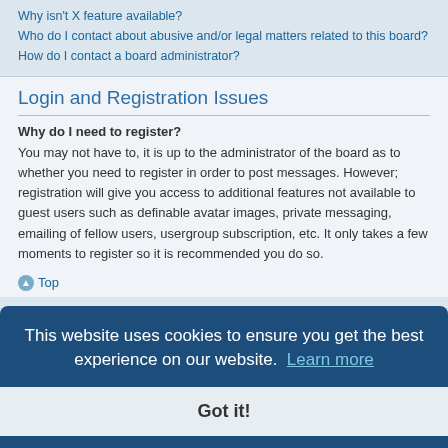Why isn't X feature available?
Who do I contact about abusive and/or legal matters related to this board?
How do I contact a board administrator?
Login and Registration Issues
Why do I need to register?
You may not have to, it is up to the administrator of the board as to whether you need to register in order to post messages. However; registration will give you access to additional features not available to guest users such as definable avatar images, private messaging, emailing of fellow users, usergroup subscription, etc. It only takes a few moments to register so it is recommended you do so.
Top
This website uses cookies to ensure you get the best experience on our website.  Learn more
Got it!
now in the ion from ther personally sure if this trying to 3B Limited and the owners of this board cannot provide legal advice and is not a point of